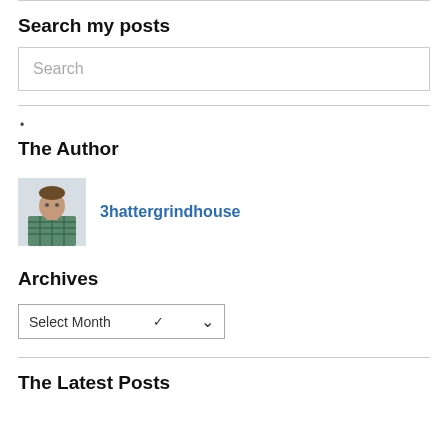Search my posts
[Figure (screenshot): Search input box with placeholder text 'Search']
•
The Author
[Figure (photo): Avatar photo of the author, a person wearing a plaid shirt]
3hattergrindhouse
Archives
[Figure (screenshot): Dropdown select box labeled 'Select Month' with a chevron arrow]
The Latest Posts